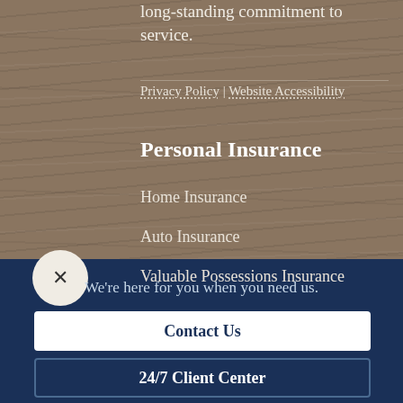long-standing commitment to service.
Privacy Policy | Website Accessibility
Personal Insurance
Home Insurance
Auto Insurance
Valuable Possessions Insurance
We're here for you when you need us.
Contact Us
24/7 Client Center